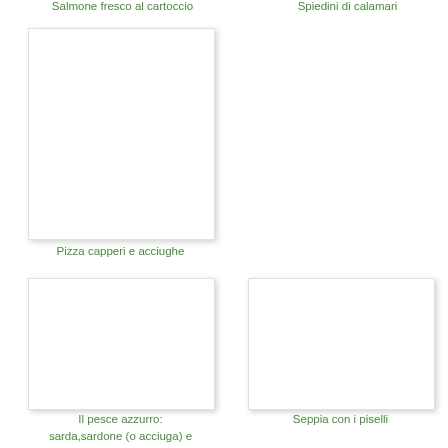Salmone fresco al cartoccio
Spiedini di calamari
[Figure (photo): White/blank image placeholder for pizza capperi e acciughe]
Pizza capperi e acciughe
[Figure (photo): White/blank image placeholder for Il pesce azzurro]
[Figure (photo): White/blank image placeholder for Seppia con i piselli]
Il pesce azzurro:
sarda,sardone (o acciuga) e
Seppia con i piselli